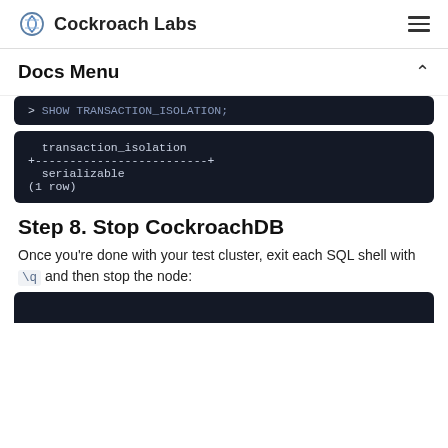Cockroach Labs
Docs Menu
[Figure (screenshot): Dark code block showing partial SQL command: > SHOW TRANSACTION_ISOLATION;]
[Figure (screenshot): Dark code block showing SQL output: transaction_isolation / +-------------------------+ / serializable / (1 row)]
Step 8. Stop CockroachDB
Once you're done with your test cluster, exit each SQL shell with \q and then stop the node:
[Figure (screenshot): Dark code block at bottom of page (truncated)]